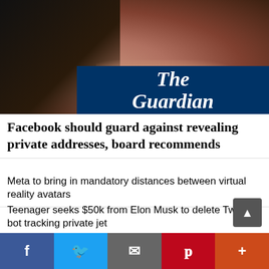[Figure (photo): Close-up photo of a woman's face with dark hair, smiling, with The Guardian logo overlay in dark blue at bottom right]
Facebook should guard against revealing private addresses, board recommends
Meta to bring in mandatory distances between virtual reality avatars
Teenager seeks $50k from Elon Musk to delete Twitter bot tracking private jet
What your smart TV knows about you – and how to stop it harvesting data
Cabbage the Twitter-famous lost-and-found dog dies at 15
I've seen the metaverse – and I don't want it
f  Twitter  email  Pinterest  +